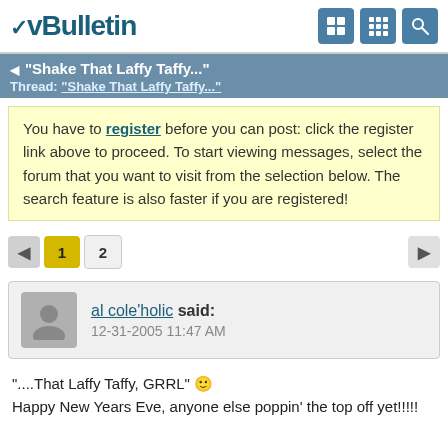vBulletin
"Shake That Laffy Taffy..." Thread: "Shake That Laffy Taffy..."
You have to register before you can post: click the register link above to proceed. To start viewing messages, select the forum that you want to visit from the selection below. The search feature is also faster if you are registered!
1 2
al cole'holic said: 12-31-2005 11:47 AM
"....That Laffy Taffy, GRRL" 🙂
Happy New Years Eve, anyone else poppin' the top off yet!!!!!